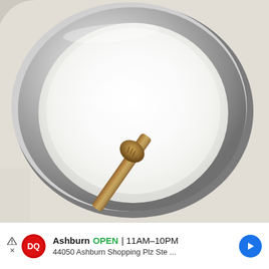[Figure (photo): Overhead view of a round silver mixing bowl filled with white sugar or powder, with a wooden/metal spoon resting inside the bowl at an angle. The bowl sits on a light beige surface. The spoon head is visible near the center of the bowl.]
Ashburn  OPEN  11AM–10PM  44050 Ashburn Shopping Plz Ste ...